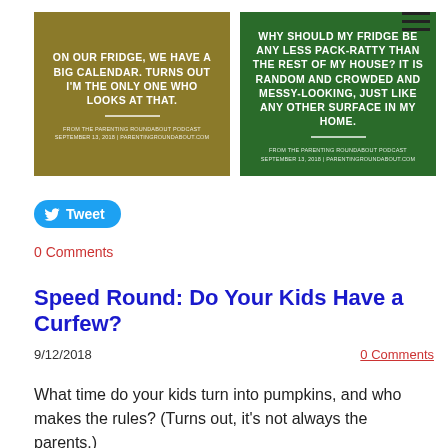[Figure (illustration): Two quote cards side by side. Left card: olive/gold background with white bold text 'ON OUR FRIDGE, WE HAVE A BIG CALENDAR. TURNS OUT I'M THE ONLY ONE WHO LOOKS AT THAT.' with attribution 'FROM THE PARENTING ROUNDABOUT PODCAST SEPTEMBER 13, 2018 | PARENTINGROUNDABOUT.COM'. Right card: green background with white bold text 'WHY SHOULD MY FRIDGE BE ANY LESS PACK-RATTY THAN THE REST OF MY HOUSE? IT IS RANDOM AND CROWDED AND MESSY-LOOKING, JUST LIKE ANY OTHER SURFACE IN MY HOME.' with same attribution.]
Tweet
0 Comments
Speed Round: Do Your Kids Have a Curfew?
9/12/2018
0 Comments
What time do your kids turn into pumpkins, and who makes the rules? (Turns out, it's not always the parents.)